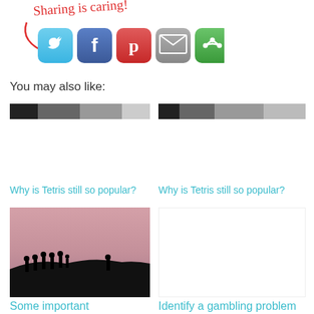[Figure (illustration): Sharing is caring handwritten text with red arrow pointing to social media share buttons: Twitter (blue), Facebook (dark blue), Pinterest (red), Email (gray), Green share button]
You may also like:
[Figure (photo): Partially visible dark header image thumbnail for 'Why is Tetris still so popular?' article]
Why is Tetris still so popular?
[Figure (photo): Partially visible dark header image thumbnail for 'Why is Tetris still so popular?' article (second instance)]
Why is Tetris still so popular?
[Figure (photo): Photo of silhouettes of people walking along a dark ridge against a pink/dusty sky]
Some important considerations for personal growth
Identify a gambling problem